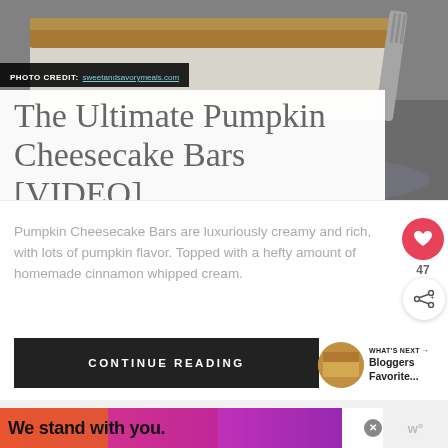[Figure (photo): Pumpkin cheesecake bar with graham cracker crust on a plate with a fork, close-up photo]
PHOTO CREDIT: sweetandsavorymeals.com
The Ultimate Pumpkin Cheesecake Bars [VIDEO]
Pumpkin Cheesecake Bars are luxuriously creamy and rich, with lots of pumpkin flavor. Topped with a hefty amount of homemade cinnamon whipped cream.
CONTINUE READING
WHAT'S NEXT → Bloggers Favorite...
We stand with you.